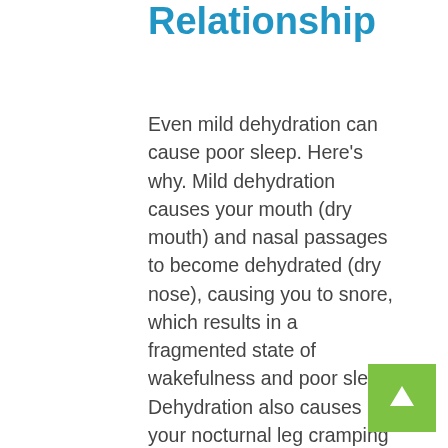Relationship
Even mild dehydration can cause poor sleep. Here's why. Mild dehydration causes your mouth (dry mouth) and nasal passages to become dehydrated (dry nose), causing you to snore, which results in a fragmented state of wakefulness and poor sleep. Dehydration also causes your nocturnal leg cramping that can also disrupt your sleep. Unfortunately, the dry air heat and air conditioning systems further exacerbate the situation and cause your body to lose even